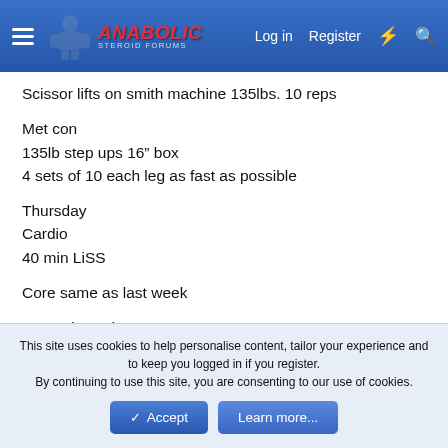Anabolic Steroid Forums — Log in | Register
Scissor lifts on smith machine 135lbs. 10 reps
Met con
135lb step ups 16" box
4 sets of 10 each leg as fast as possible
Thursday
Cardio
40 min LiSS
Core same as last week
4 rounds each
V-ups 8 reps
This site uses cookies to help personalise content, tailor your experience and to keep you logged in if you register.
By continuing to use this site, you are consenting to our use of cookies.